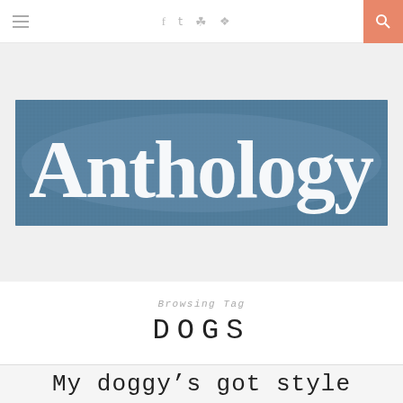≡   f  𝕥  📷  𝗉   🔍
[Figure (photo): Close-up photo of the word 'Anthology' printed in white serif text on a blue fabric or textured surface background.]
Browsing Tag
DOGS
My doggy's got style